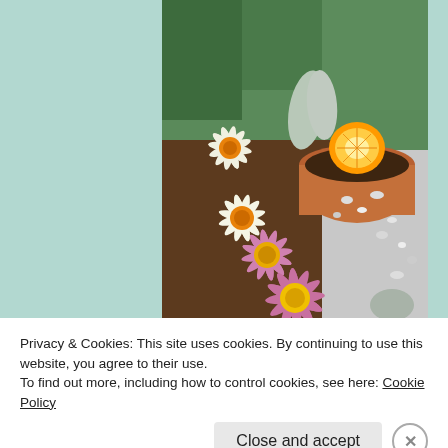[Figure (photo): Garden photo showing gazania daisy flowers in pink/purple and white/yellow colors, with a halved orange on a terracotta pot, surrounded by plants, green leaves, and white gravel/stones in a sunny garden bed.]
Privacy & Cookies: This site uses cookies. By continuing to use this website, you agree to their use.
To find out more, including how to control cookies, see here: Cookie Policy